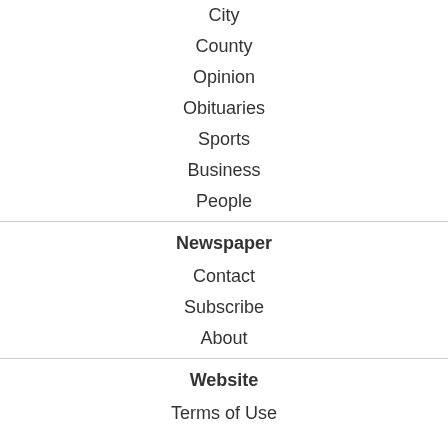City
County
Opinion
Obituaries
Sports
Business
People
Newspaper
Contact
Subscribe
About
Website
Terms of Use